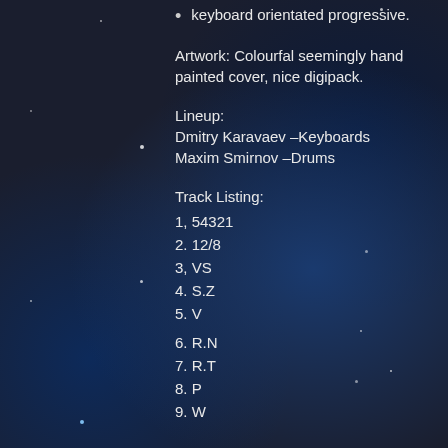keyboard orientated progressive.
Artwork: Colourfal seemingly hand painted cover, nice digipack.
Lineup:
Dmitry Karavaev –Keyboards
Maxim Smirnov –Drums
Track Listing:
1, 54321
2. 12/8
3, VS
4. S.Z
5. V
6. R.N
7. R.T
8. P
9. W